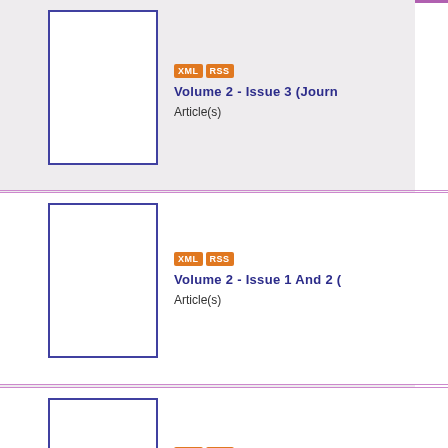Volume 2 - Issue 3 (Journal) XML RSS Article(s)
Volume 2 - Issue 1 And 2 (Journal) XML RSS Article(s)
Volume 1 - Issue 4 (Journal) XML RSS Article(s)
Year 2005
Volume 1 - Issue 3 (Journal) XML RSS Article(s)
Volume 1 - Issue 2 (Journal) XML RSS Article(s)